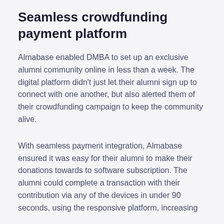Seamless crowdfunding payment platform
Almabase enabled DMBA to set up an exclusive alumni community online in less than a week. The digital platform didn't just let their alumni sign up to connect with one another, but also alerted them of their crowdfunding campaign to keep the community alive.
With seamless payment integration, Almabase ensured it was easy for their alumni to make their donations towards to software subscription. The alumni could complete a transaction with their contribution via any of the devices in under 90 seconds, using the responsive platform, increasing